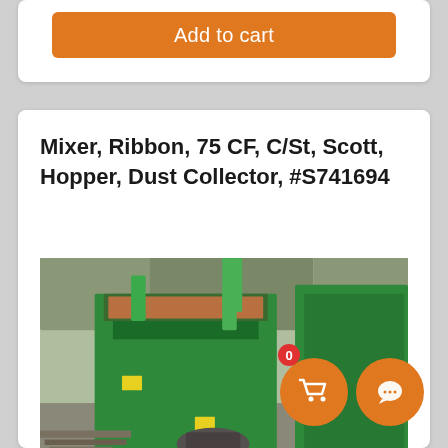Add to cart
Mixer, Ribbon, 75 CF, C/St, Scott, Hopper, Dust Collector, #S741694
[Figure (photo): Green industrial ribbon mixer with hopper and dust collector, photographed outdoors in a yard with pallet wood and bare trees visible in the background.]